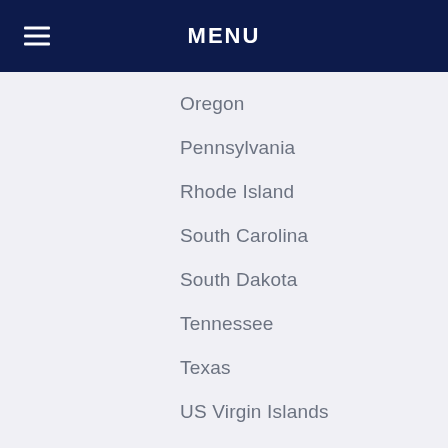MENU
Oregon
Pennsylvania
Rhode Island
South Carolina
South Dakota
Tennessee
Texas
US Virgin Islands
Utah
Vermont